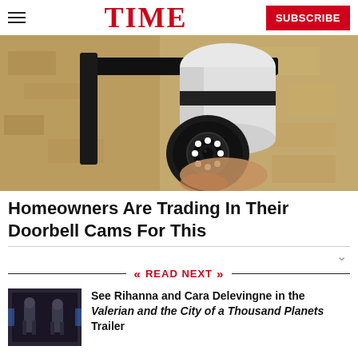TIME
[Figure (photo): A security camera with LED night vision mounted on a wall bracket, close-up view, tan/sandy textured wall background.]
Homeowners Are Trading In Their Doorbell Cams For This
READ NEXT
[Figure (photo): Two figures in dark sci-fi costumes standing in a futuristic corridor — still from Valerian and the City of a Thousand Planets.]
See Rihanna and Cara Delevingne in the Valerian and the City of a Thousand Planets Trailer